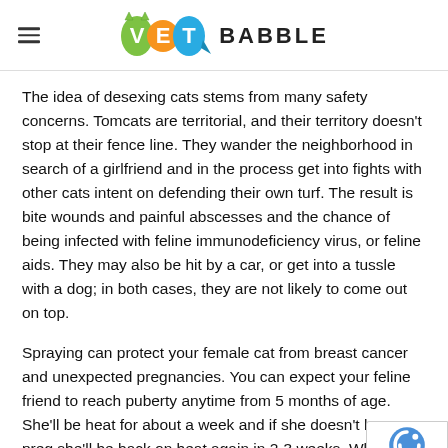VET BABBLE
The idea of desexing cats stems from many safety concerns. Tomcats are territorial, and their territory doesn't stop at their fence line. They wander the neighborhood in search of a girlfriend and in the process get into fights with other cats intent on defending their own turf. The result is bite wounds and painful abscesses and the chance of being infected with feline immunodeficiency virus, or feline aids. They may also be hit by a car, or get into a tussle with a dog; in both cases, they are not likely to come out on top.
Spraying can protect your female cat from breast cancer and unexpected pregnancies. You can expect your feline friend to reach puberty anytime from 5 months of age. She'll be heat for about a week and if she doesn't become preg she'll be back on heat again in 2-3 weeks. While she is on